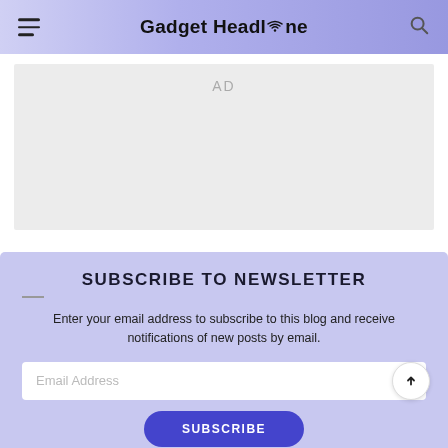Gadget Headline
[Figure (other): Advertisement placeholder box with 'AD' label]
SUBSCRIBE TO NEWSLETTER
Enter your email address to subscribe to this blog and receive notifications of new posts by email.
Email Address
SUBSCRIBE